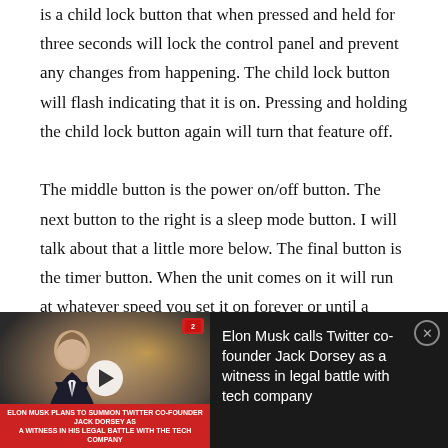is a child lock button that when pressed and held for three seconds will lock the control panel and prevent any changes from happening.  The child lock button will flash indicating that it is on.  Pressing and holding the child lock button again will turn that feature off.

The middle button is the power on/off button.  The next button to the right is a sleep mode button.  I will talk about that a little more below.  The final button is the timer button.  When the unit comes on it will run at whatever speed you set it on forever or until a power loss occurs.  Pressing the timer button lets you
[Figure (screenshot): News video ad banner showing Elon Musk with a news chyron reading 'ELON MUSK PLANS TO SUMMON TWITTER CO-FOUNDER JACK DORSEY AS A WITNESS IN HIS LEGAL BATTLE WITH THE TECH COMPANY', with headline text 'Elon Musk calls Twitter co-founder Jack Dorsey as a witness in legal battle with tech company' and a close button.]